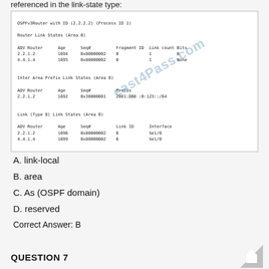referenced in the link-state type:
[Figure (screenshot): OSPFv3Router CLI output showing Router Link States (Area 0), Inter Area Prefix Link States (Area 0), and Link (Type 8) Link States (Area 0) with ADV Router, Age, Seq#, Fragment ID, Link count, Bits, Prefix, Link ID, Interface columns and associated data rows.]
A. link-local
B. area
C. As (OSPF domain)
D. reserved
Correct Answer: B
QUESTION 7